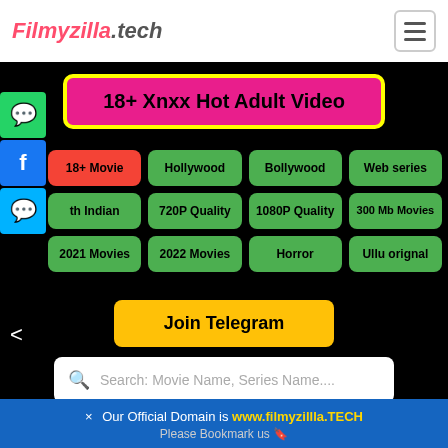Filmyzilla.tech
[Figure (screenshot): Website navigation banner with 18+ Xnxx Hot Adult Video button highlighted in pink with yellow border]
18+ Movie
Hollywood
Bollywood
Web series
th Indian
720P Quality
1080P Quality
300 Mb Movies
2021 Movies
2022 Movies
Horror
Ullu orignal
Join Telegram
Search: Movie Name, Series Name....
× Our Official Domain is www.filmyzillla.TECH